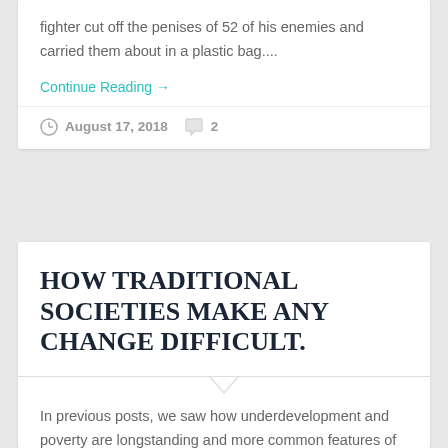fighter cut off the penises of 52 of his enemies and carried them about in a plastic bag....
Continue Reading →
August 17, 2018   2
HOW TRADITIONAL SOCIETIES MAKE ANY CHANGE DIFFICULT.
In previous posts, we saw how underdevelopment and poverty are longstanding and more common features of human life on earth than development and riches.